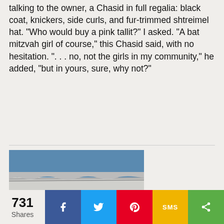talking to the owner, a Chasid in full regalia: black coat, knickers, side curls, and fur-trimmed shtreimel hat. "Who would buy a pink tallit?" I asked. "A bat mitzvah girl of course," this Chasid said, with no hesitation. ". . . no, not the girls in my community," he added, "but in yours, sure, why not?"
[Figure (photo): A stack of newspapers with the word SCANDAL visible as a headline on the topmost newspaper. Text 'the previous yea' and 'reflected in' partially visible.]
731 Shares | Facebook | Twitter | Pinterest | SMS | Share